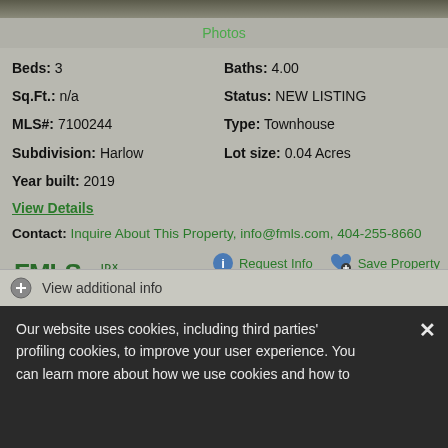[Figure (photo): Top strip of a property photo, partially visible]
Photos
Beds: 3
Baths: 4.00
Sq.Ft.: n/a
Status: NEW LISTING
MLS#: 7100244
Type: Townhouse
Subdivision: Harlow
Lot size: 0.04 Acres
Year built: 2019
View Details
Contact: Inquire About This Property, info@fmls.com, 404-255-8660
[Figure (logo): FMLS IDX logo in green]
Request Info   Save Property
View additional info
Our website uses cookies, including third parties' profiling cookies, to improve your user experience. You can learn more about how we use cookies and how to